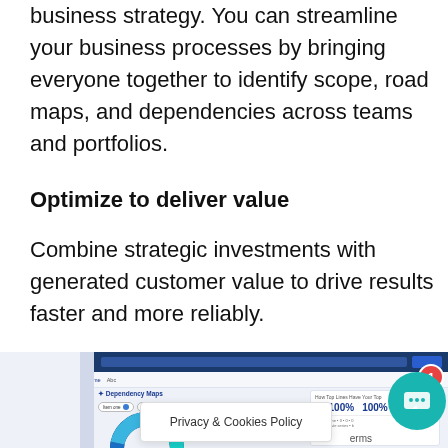business strategy. You can streamline your business processes by bringing everyone together to identify scope, road maps, and dependencies across teams and portfolios.
Optimize to deliver value
Combine strategic investments with generated customer value to drive results faster and more reliably.
[Figure (screenshot): Screenshot of a project management tool showing a Dependency Maps view with a donut chart, filter chips, and a stats panel. A 'Privacy & Cookies Policy' banner overlay is visible at the bottom. A teal chat widget with a red notification badge showing '1' appears at the bottom right.]